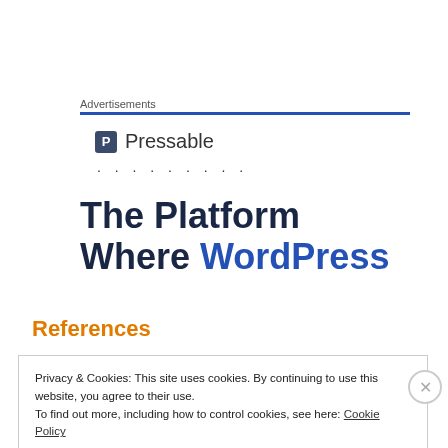Advertisements
[Figure (logo): Pressable logo with blue square P icon and text 'Pressable']
The Platform Where WordPress
References
Privacy & Cookies: This site uses cookies. By continuing to use this website, you agree to their use.
To find out more, including how to control cookies, see here: Cookie Policy
Close and accept